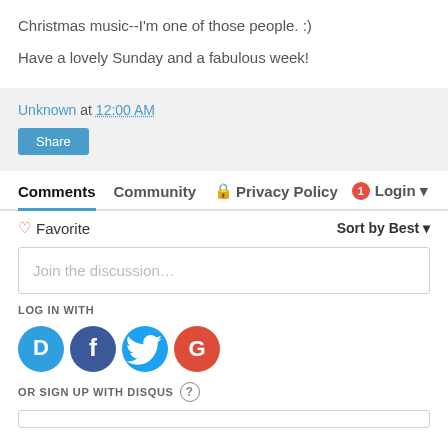Christmas music--I'm one of those people. :)
Have a lovely Sunday and a fabulous week!
Unknown at 12:00 AM
Share
Comments  Community  🔒 Privacy Policy  1  Login ▼
♡ Favorite    Sort by Best ▼
Join the discussion…
LOG IN WITH
[Figure (infographic): Social login icons: Disqus (blue circle with D), Facebook (dark blue circle with f), Twitter (light blue circle with bird), Google (red circle with G)]
OR SIGN UP WITH DISQUS ?